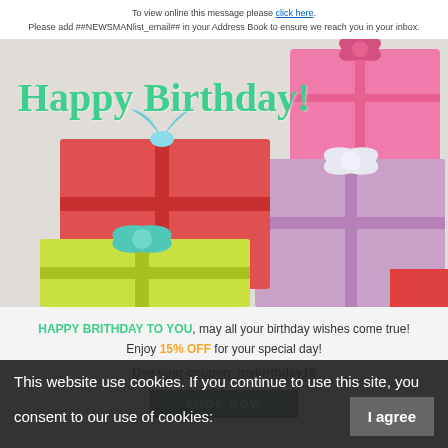To view online this message please click here.
Please add ##NEWSMANlist_email## in your Address Book to ensure we reach you in your inbox.
[Figure (photo): Colorful wrapped birthday gift boxes (red, yellow-green, purple, pink) with ribbons on a light background, with 'Happy Birthday!' text overlaid in green cursive]
HAPPY BRITHDAY TO YOU, may all your birthday wishes come true!
Enjoy 15% OFF for your special day!
Use your coupon: mybirthday15
SHOP NOW
This website use cookies. If you continue to use this site, you consent to our use of cookies:
I agree